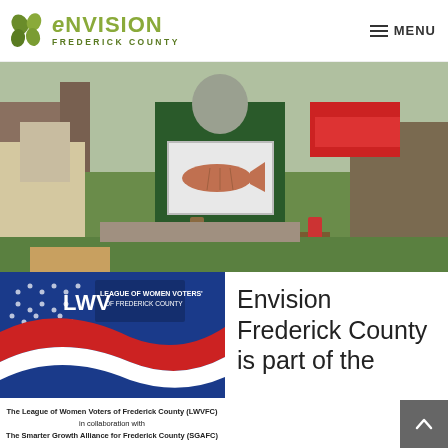Envision Frederick County — MENU
[Figure (photo): Person outdoors holding a framed fish print, standing near a wooden fence with green grass and parked vehicles in background; two other people partially visible on either side]
[Figure (photo): League of Women Voters of Frederick County (LWVFC) banner with patriotic red, white, and blue wave design and LWV logo, with text: The League of Women Voters of Frederick County (LWVFC) in collaboration with The Smarter Growth Alliance for Frederick County (SGAFC)]
Envision Frederick County is part of the